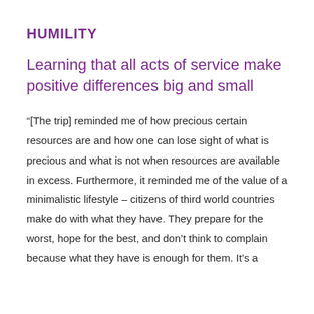HUMILITY
Learning that all acts of service make positive differences big and small
“[The trip] reminded me of how precious certain resources are and how one can lose sight of what is precious and what is not when resources are available in excess. Furthermore, it reminded me of the value of a minimalistic lifestyle – citizens of third world countries make do with what they have. They prepare for the worst, hope for the best, and don’t think to complain because what they have is enough for them. It’s a